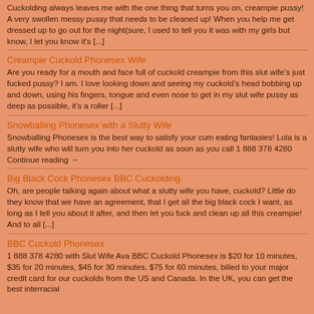Cuckolding always leaves me with the one thing that turns you on, creampie pussy! A very swollen messy pussy that needs to be cleaned up! When you help me get dressed up to go out for the night(sure, I used to tell you it was with my girls but know, I let you know it's [...]
Creampie Cuckold Phonesex Wife
Are you ready for a mouth and face full of cuckold creampie from this slut wife’s just fucked pussy? I am. I love looking down and seeing my cuckold’s head bobbing up and down, using his fingers, tongue and even nose to get in my slut wife pussy as deep as possible, it’s a roller [...]
Snowballing Phonesex with a Slutty Wife
Snowballing Phonesex is the best way to satisfy your cum eating fantasies! Lola is a slutty wife who will turn you into her cuckold as soon as you call 1 888 378 4280 Continue reading →
Big Black Cock Phonesex BBC Cuckolding
Oh, are people talking again about what a slutty wife you have, cuckold? Little do they know that we have an agreement, that I get all the big black cock I want, as long as I tell you about it after, and then let you fuck and clean up all this creampie! And to all [...]
BBC Cuckold Phonesex
1 888 378 4280 with Slut Wife Ava BBC Cuckold Phonesex is $20 for 10 minutes, $35 for 20 minutes, $45 for 30 minutes, $75 for 60 minutes, billed to your major credit card for our cuckolds from the US and Canada. In the UK, you can get the best interracial